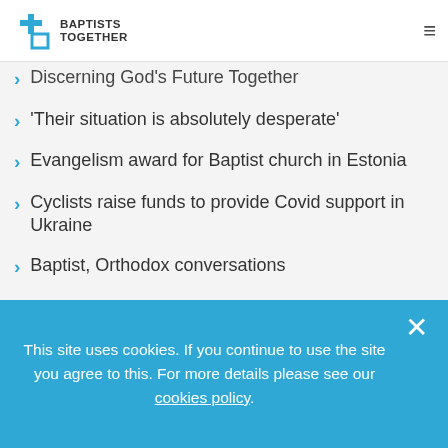Baptists Together
Discerning God's Future Together
'Their situation is absolutely desperate'
Evangelism award for Baptist church in Estonia
Cyclists raise funds to provide Covid support in Ukraine
Baptist, Orthodox conversations
UK-Ukraine Baptists celebrate the life and work of Sergii V Sannikov
This site uses cookies. If you continue to use the site you agree to this. For more details please see our cookies policy.